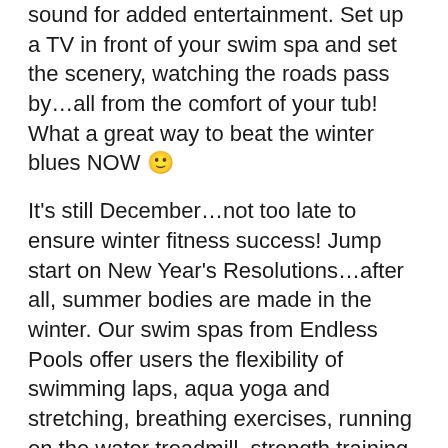sound for added entertainment. Set up a TV in front of your swim spa and set the scenery, watching the roads pass by…all from the comfort of your tub! What a great way to beat the winter blues NOW 🙂
It's still December…not too late to ensure winter fitness success! Jump start on New Year's Resolutions…after all, summer bodies are made in the winter. Our swim spas from Endless Pools offer users the flexibility of swimming laps, aqua yoga and stretching, breathing exercises, running on the water treadmill, strength training with aqua resistance bands, or even the dual-temperature hot tub afterwards.
Don't wait any longer. The time is now. Get a head start on your New Year's goals and stay fit year-round with the help of an Endless Pools